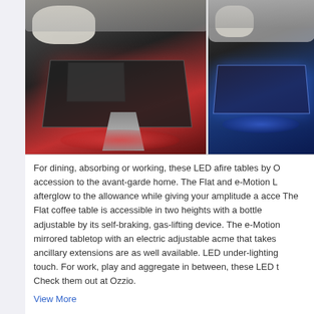[Figure (photo): Two side-by-side photos of a modern LED-lit coffee table. Left photo shows the table with red LED underglow in a living room setting. Right photo shows the same or similar table with blue LED underglow.]
For dining, absorbing or working, these LED afire tables by O accession to the avant-garde home. The Flat and e-Motion L afterglow to the allowance while giving your amplitude a acce The Flat coffee table is accessible in two heights with a bottle adjustable by its self-braking, gas-lifting device. The e-Motion mirrored tabletop with an electric adjustable acme that takes ancillary extensions are as well available. LED under-lighting touch. For work, play and aggregate in between, these LED t Check them out at Ozzio.
View More